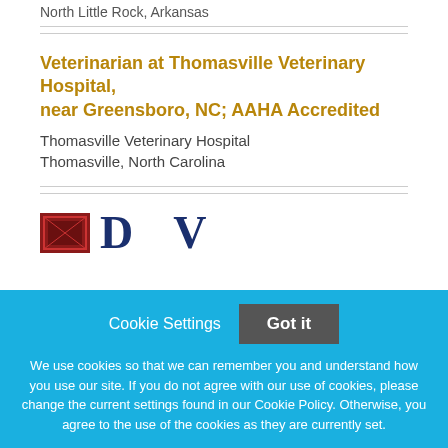North Little Rock, Arkansas
Veterinarian at Thomasville Veterinary Hospital, near Greensboro, NC; AAHA Accredited
Thomasville Veterinary Hospital
Thomasville, North Carolina
[Figure (logo): Partial logos visible: red icon and large blue letters 'D' and 'V']
Cookie Settings
Got it
We use cookies so that we can remember you and understand how you use our site. If you do not agree with our use of cookies, please change the current settings found in our Cookie Policy. Otherwise, you agree to the use of the cookies as they are currently set.